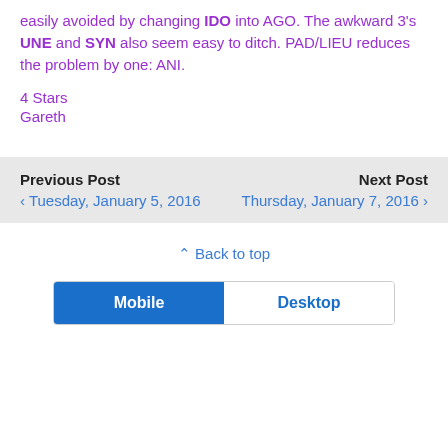easily avoided by changing IDO into AGO. The awkward 3's UNE and SYN also seem easy to ditch. PAD/LIEU reduces the problem by one: ANI.
4 Stars
Gareth
Previous Post  Tuesday, January 5, 2016    Next Post  Thursday, January 7, 2016
⇧ Back to top
Mobile   Desktop